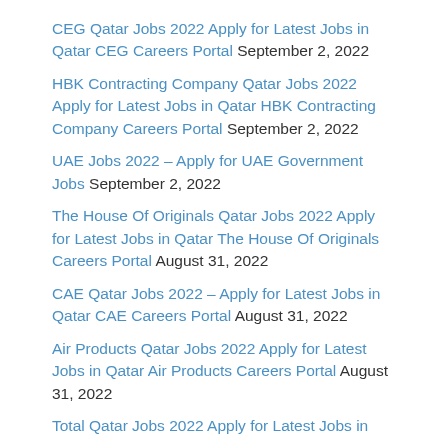CEG Qatar Jobs 2022 Apply for Latest Jobs in Qatar CEG Careers Portal September 2, 2022
HBK Contracting Company Qatar Jobs 2022 Apply for Latest Jobs in Qatar HBK Contracting Company Careers Portal September 2, 2022
UAE Jobs 2022 – Apply for UAE Government Jobs September 2, 2022
The House Of Originals Qatar Jobs 2022 Apply for Latest Jobs in Qatar The House Of Originals Careers Portal August 31, 2022
CAE Qatar Jobs 2022 – Apply for Latest Jobs in Qatar CAE Careers Portal August 31, 2022
Air Products Qatar Jobs 2022 Apply for Latest Jobs in Qatar Air Products Careers Portal August 31, 2022
Total Qatar Jobs 2022 Apply for Latest Jobs in